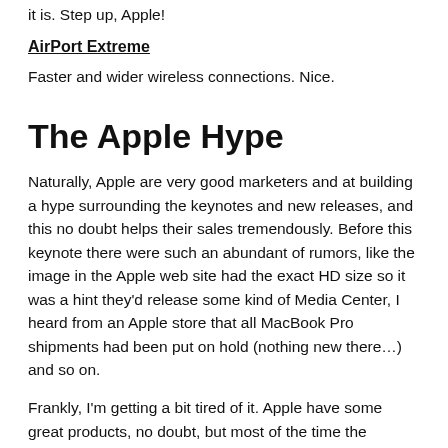it is. Step up, Apple!
AirPort Extreme
Faster and wider wireless connections. Nice.
The Apple Hype
Naturally, Apple are very good marketers and at building a hype surrounding the keynotes and new releases, and this no doubt helps their sales tremendously. Before this keynote there were such an abundant of rumors, like the image in the Apple web site had the exact HD size so it was a hint they'd release some kind of Media Center, I heard from an Apple store that all MacBook Pro shipments had been put on hold (nothing new there…) and so on.
Frankly, I'm getting a bit tired of it. Apple have some great products, no doubt, but most of the time the keynotes and